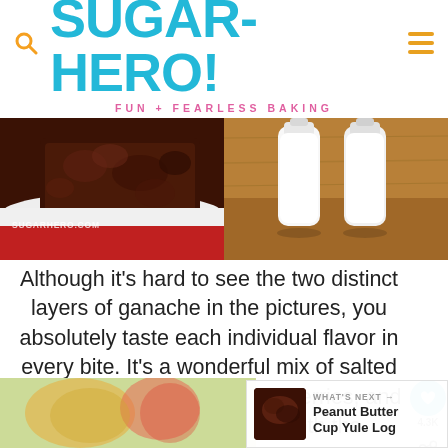[Figure (logo): SugarHero! logo with cyan/teal lettering, search icon on left, hamburger menu on right, tagline FUN + FEARLESS BAKING in pink]
[Figure (photo): Two food/ingredient photos side by side: left shows a chocolate brownie on a white plate with SUGARHERO.COM watermark, right shows glass milk bottles on a wooden surface]
Although it's hard to see the two distinct layers of ganache in the pictures, you absolutely taste each individual flavor in every bite. It's a wonderful mix of salted peanutty goodness fruity raspberries, and of course, rich choco in both the ganache and browni
[Figure (screenshot): WHAT'S NEXT overlay with thumbnail image and text 'Peanut Butter Cup Yule Log']
[Figure (photo): Bottom partial food photo showing blurred ingredients]